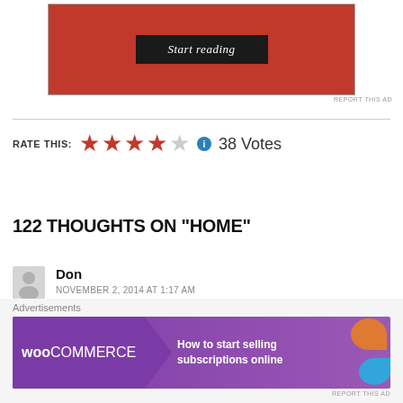[Figure (screenshot): Red advertisement banner with 'Start reading' button]
REPORT THIS AD
RATE THIS: ★★★★☆ ℹ 38 Votes
122 THOUGHTS ON "HOME"
Don
NOVEMBER 2, 2014 AT 1:17 AM
I have truly enjoyed your books. Thank you for a
[Figure (screenshot): WooCommerce advertisement banner: How to start selling subscriptions online]